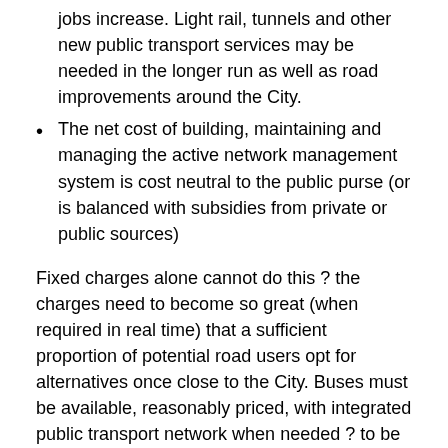jobs increase. Light rail, tunnels and other new public transport services may be needed in the longer run as well as road improvements around the City.
The net cost of building, maintaining and managing the active network management system is cost neutral to the public purse (or is balanced with subsidies from private or public sources)
Fixed charges alone cannot do this ? the charges need to become so great (when required in real time) that a sufficient proportion of potential road users opt for alternatives once close to the City. Buses must be available, reasonably priced, with integrated public transport network when needed ? to be a reliable alternative. That way the buses can be guaranteed fast reliable journeys.
The alternative is to provide a costly parallel network